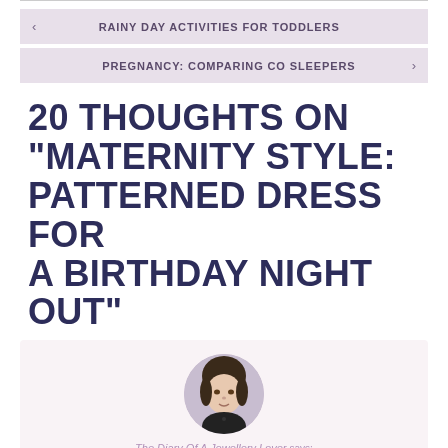< RAINY DAY ACTIVITIES FOR TODDLERS
PREGNANCY: COMPARING CO SLEEPERS >
20 THOUGHTS ON "MATERNITY STYLE: PATTERNED DRESS FOR A BIRTHDAY NIGHT OUT"
[Figure (photo): Circular avatar photo of a woman with dark hair wearing a black top, with a small pendant necklace]
The Diary Of A Jewellery Lover says: